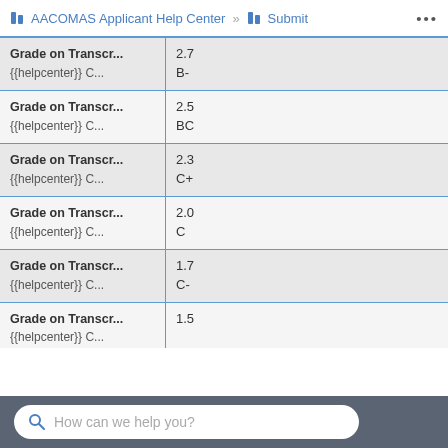AACOMAS Applicant Help Center » Submit ...
| Field | Value |
| --- | --- |
| Grade on Transcr... | 2.7 |
| {{helpcenter}} C... | B- |
| Grade on Transcr... | 2.5 |
| {{helpcenter}} C... | BC |
| Grade on Transcr... | 2.3 |
| {{helpcenter}} C... | C+ |
| Grade on Transcr... | 2.0 |
| {{helpcenter}} C... | C |
| Grade on Transcr... | 1.7 |
| {{helpcenter}} C... | C- |
| Grade on Transcr... | 1.5 |
| {{helpcenter}} C... | ... |
How can we help you?